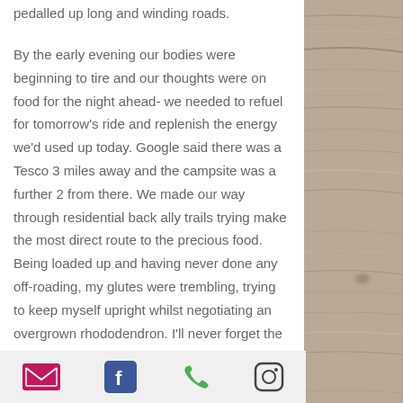pedalled up long and winding roads.
By the early evening our bodies were beginning to tire and our thoughts were on food for the night ahead- we needed to refuel for tomorrow's ride and replenish the energy we'd used up today. Google said there was a Tesco 3 miles away and the campsite was a further 2 from there. We made our way through residential back ally trails trying make the most direct route to the precious food. Being loaded up and having never done any off-roading, my glutes were trembling, trying to keep myself upright whilst negotiating an overgrown rhododendron. I'll never forget the sweet
[Figure (photo): Wood plank texture background on right side of page]
Email | Facebook | Phone | Instagram social media icons